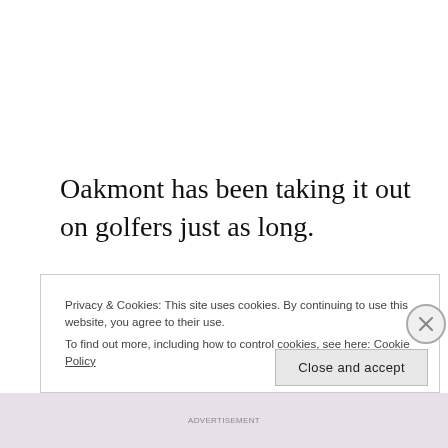Oakmont has been taking it out on golfers just as long.
Godspeed, men.
Privacy & Cookies: This site uses cookies. By continuing to use this website, you agree to their use.
To find out more, including how to control cookies, see here: Cookie Policy
Close and accept